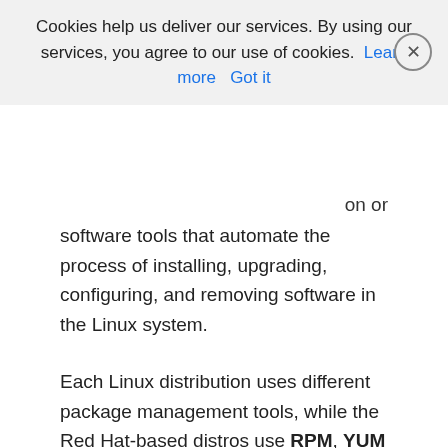Cookies help us deliver our services. By using our services, you agree to our use of cookies. Learn more Got it
on or software tools that automate the process of installing, upgrading, configuring, and removing software in the Linux system.
Each Linux distribution uses different package management tools, while the Red Hat-based distros use RPM, YUM and DNF.
In this guide, we will show you the difference between YUM and RPM.
RPM is one of the oldest traditional package managers, designed to work on Red Hat-based